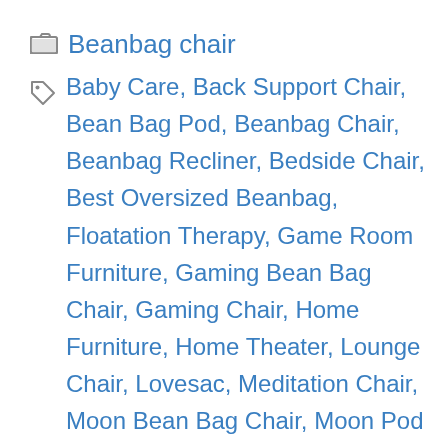Beanbag chair
Baby Care, Back Support Chair, Bean Bag Pod, Beanbag Chair, Beanbag Recliner, Bedside Chair, Best Oversized Beanbag, Floatation Therapy, Game Room Furniture, Gaming Bean Bag Chair, Gaming Chair, Home Furniture, Home Theater, Lounge Chair, Lovesac, Meditation Chair, Moon Bean Bag Chair, Moon Pod Bean Bag, Moon Pod Chair, Moon Pod Vs, Moonpod, Moonpod Lunar Lift, Movie Chair, Natural Bean Bag Filler, Nursery Decor, Nursing Chair, Playroom Furniture, Reading Chair, Recliner, Relaxation Bean Bag, Relaxation Chair,